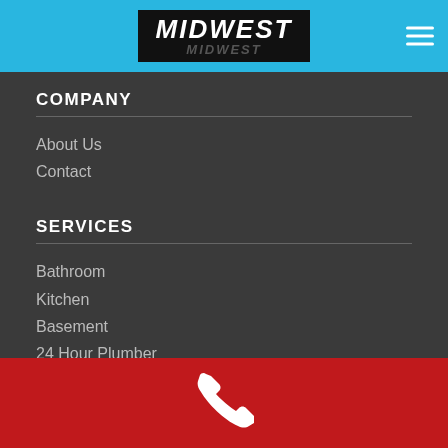[Figure (logo): Midwest logo in black box on blue header bar with hamburger menu icon on right]
COMPANY
About Us
Contact
SERVICES
Bathroom
Kitchen
Basement
24 Hour Plumber
MIDWEST PLUMBERS MONROEVILLE
[Figure (illustration): White phone handset icon on red footer bar]